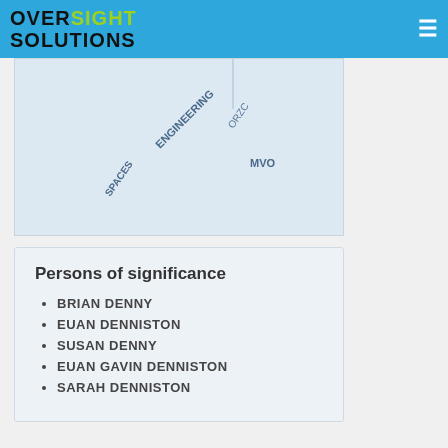OVERSIGHT SOLUTIONS
[Figure (map): Partial map view showing rotated text labels: ENGINEERING, SPACES, ORZC, MVO on a light blue-grey background]
Persons of significance
BRIAN DENNY
EUAN DENNISTON
SUSAN DENNY
EUAN GAVIN DENNISTON
SARAH DENNISTON